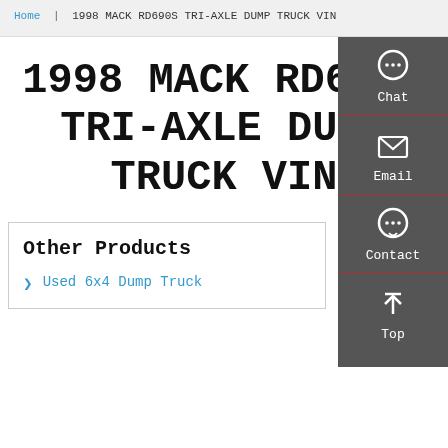Home | 1998 MACK RD690S TRI-AXLE DUMP TRUCK VIN
1998 MACK RD690S TRI-AXLE DUMP TRUCK VIN
Other Products
Used 6x4 Dump Truck